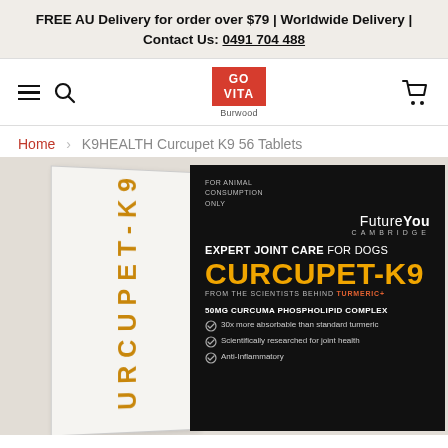FREE AU Delivery for order over $79 | Worldwide Delivery | Contact Us: 0491 704 488
[Figure (screenshot): Go Vita Burwood store logo with red background, hamburger menu, search icon, and cart icon navigation bar]
Home > K9HEALTH Curcupet K9 56 Tablets
[Figure (photo): Product box of K9HEALTH Curcupet-K9 56 Tablets. Black front panel shows FutureYou Cambridge branding, text: FOR ANIMAL CONSUMPTION ONLY, EXPERT JOINT CARE FOR DOGS, CURCUPET-K9, FROM THE SCIENTISTS BEHIND TURMERIC+, 50mg CURCUMA PHOSPHOLIPID COMPLEX, 30x more absorbable than standard turmeric, Scientifically researched for joint health, Anti-Inflammatory. White side panel shows vertical text CURCUPET-K9 in orange.]